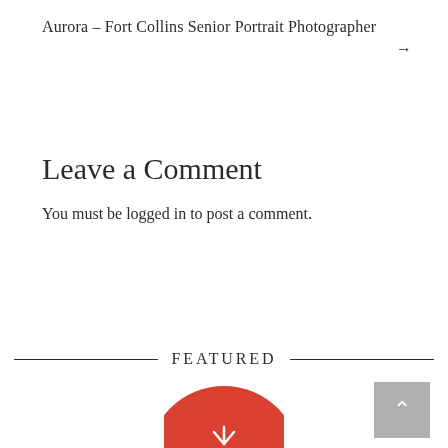Aurora – Fort Collins Senior Portrait Photographer
→
Leave a Comment
You must be logged in to post a comment.
FEATURED
[Figure (illustration): Partially visible red circle with decorative icon at the bottom of the page]
[Figure (other): Back to top button: gray square with white upward-pointing chevron/caret]